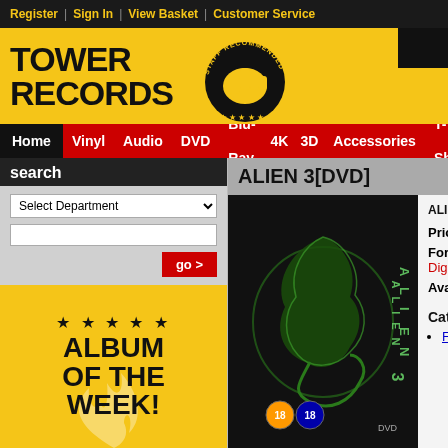Register | Sign In | View Basket | Customer Service
[Figure (logo): Tower Records logo with yellow background and 'Staff Recommended' thumbs-up badge]
Home | Vinyl | Audio | DVD | Blu-Ray | 4K | 3D | Accessories | T-Shirts | Hi-R
search
[Figure (infographic): Album of the Week promotional banner with yellow background, stars, flame/torch illustration, and bold text 'ALBUM OF THE WEEK!']
ALIEN 3[DVD]
[Figure (photo): DVD cover for Alien 3 showing stylized alien creature in green against black background with ALIEN 3 text vertically on side]
ALIEN 3[D
Price: €9.99
Format: Digi
Availability:
Categories
Film